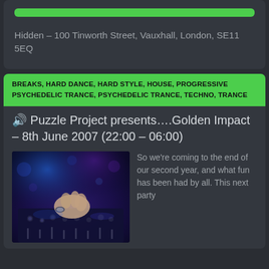[Figure (other): Green button bar at top of first card]
Hidden – 100 Tinworth Street, Vauxhall, London, SE11 5EQ
BREAKS, HARD DANCE, HARD STYLE, HOUSE, PROGRESSIVE PSYCHEDELIC TRANCE, PSYCHEDELIC TRANCE, TECHNO, TRANCE
🔊 Puzzle Project presents....Golden Impact – 8th June 2007 (22:00 – 06:00)
[Figure (photo): Photo of a DJ's hands operating a mixing board with blue/purple club lighting]
So we're coming to the end of our second year, and what fun has been had by all. This next party